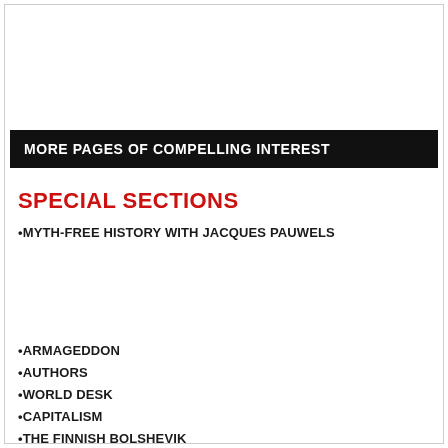MORE PAGES OF COMPELLING INTEREST
SPECIAL SECTIONS
•MYTH-FREE HISTORY WITH JACQUES PAUWELS
•ARMAGEDDON
•AUTHORS
•WORLD DESK
•CAPITALISM
•THE FINNISH BOLSHEVIK